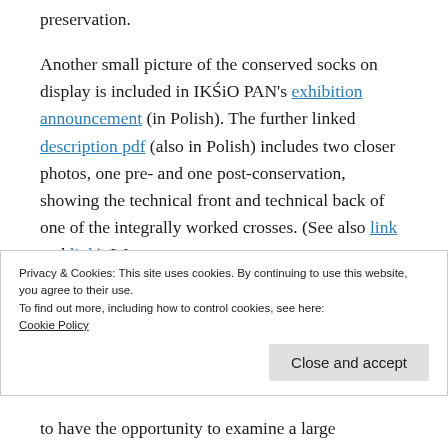preservation.
Another small picture of the conserved socks on display is included in IKŚiO PAN's exhibition announcement (in Polish). The further linked description pdf (also in Polish) includes two closer photos, one pre- and one post-conservation, showing the technical front and technical back of one of the integrally worked crosses. (See also link and link). We are
Privacy & Cookies: This site uses cookies. By continuing to use this website, you agree to their use.
To find out more, including how to control cookies, see here:
Cookie Policy
to have the opportunity to examine a large